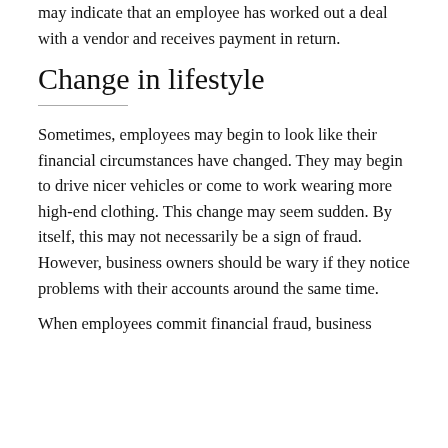may indicate that an employee has worked out a deal with a vendor and receives payment in return.
Change in lifestyle
Sometimes, employees may begin to look like their financial circumstances have changed. They may begin to drive nicer vehicles or come to work wearing more high-end clothing. This change may seem sudden. By itself, this may not necessarily be a sign of fraud. However, business owners should be wary if they notice problems with their accounts around the same time.
When employees commit financial fraud, business